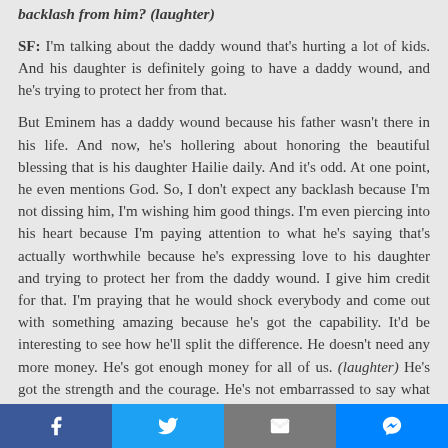backlash from him? (laughter)
SF: I'm talking about the daddy wound that's hurting a lot of kids. And his daughter is definitely going to have a daddy wound, and he's trying to protect her from that.
But Eminem has a daddy wound because his father wasn't there in his life. And now, he's hollering about honoring the beautiful blessing that is his daughter Hailie daily. And it's odd. At one point, he even mentions God. So, I don't expect any backlash because I'm not dissing him, I'm wishing him good things. I'm even piercing into his heart because I'm paying attention to what he's saying that's actually worthwhile because he's expressing love to his daughter and trying to protect her from the daddy wound. I give him credit for that. I'm praying that he would shock everybody and come out with something amazing because he's got the capability. It'd be interesting to see how he'll split the difference. He doesn't need any more money. He's got enough money for all of us. (laughter) He's got the strength and the courage. He's not embarrassed to say what he wants to say.
Facebook | Twitter | Email | Messenger